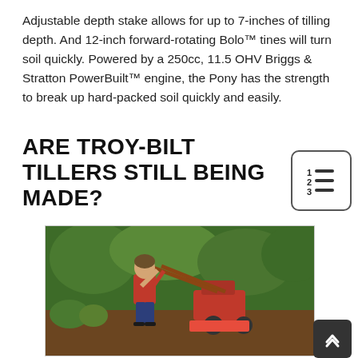Adjustable depth stake allows for up to 7-inches of tilling depth. And 12-inch forward-rotating Bolo™ tines will turn soil quickly. Powered by a 250cc, 11.5 OHV Briggs & Stratton PowerBuilt™ engine, the Pony has the strength to break up hard-packed soil quickly and easily.
ARE TROY-BILT TILLERS STILL BEING MADE?
[Figure (photo): A person in a red shirt and jeans operating a large red Troy-Bilt rear-tine tiller in an outdoor garden setting with trees and vegetation in the background.]